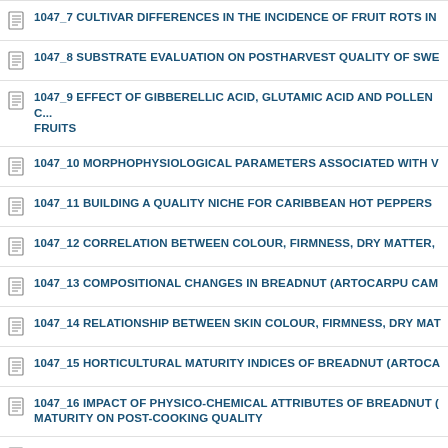1047_7 CULTIVAR DIFFERENCES IN THE INCIDENCE OF FRUIT ROTS IN
1047_8 SUBSTRATE EVALUATION ON POSTHARVEST QUALITY OF SWE
1047_9 EFFECT OF GIBBERELLIC ACID, GLUTAMIC ACID AND POLLEN C... FRUITS
1047_10 MORPHOPHYSIOLOGICAL PARAMETERS ASSOCIATED WITH V
1047_11 BUILDING A QUALITY NICHE FOR CARIBBEAN HOT PEPPERS
1047_12 CORRELATION BETWEEN COLOUR, FIRMNESS, DRY MATTER,
1047_13 COMPOSITIONAL CHANGES IN BREADNUT (ARTOCARPU CAM
1047_14 RELATIONSHIP BETWEEN SKIN COLOUR, FIRMNESS, DRY MAT
1047_15 HORTICULTURAL MATURITY INDICES OF BREADNUT (ARTOCA
1047_16 IMPACT OF PHYSICO-CHEMICAL ATTRIBUTES OF BREADNUT (... MATURITY ON POST-COOKING QUALITY
1047_17 VARIATION OF TOTAL AND REDUCING SUGARS, TOTAL PHENO